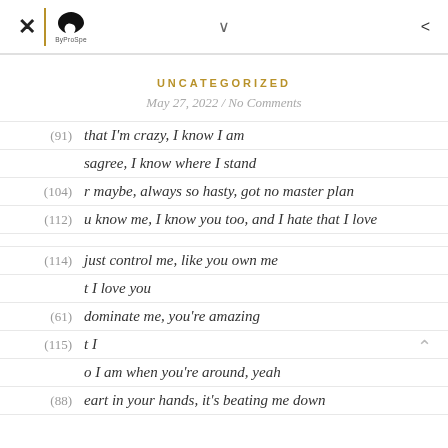× | [bird logo] ByProSpe ∨ <
UNCATEGORIZED
May 27, 2022 / No Comments
(91) that I'm crazy, I know I am
(104) sagree, I know where I stand
maybe, always so hasty, got no master plan
(112) u know me, I know you too, and I hate that I love
(114) just control me, like you own me
(61) t I love you
dominate me, you're amazing
(115) t I
(88) o I am when you're around, yeah
eart in your hands, it's beating me down